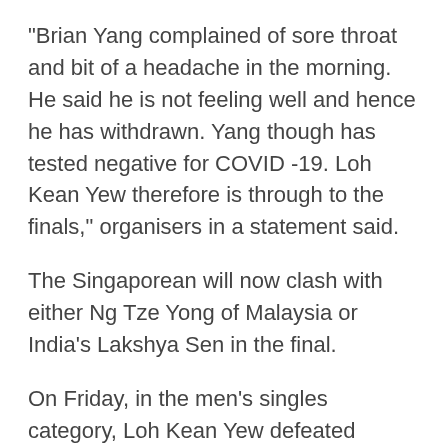"Brian Yang complained of sore throat and bit of a headache in the morning. He said he is not feeling well and hence he has withdrawn. Yang though has tested negative for COVID -19. Loh Kean Yew therefore is through to the finals," organisers in a statement said.
The Singaporean will now clash with either Ng Tze Yong of Malaysia or India's Lakshya Sen in the final.
On Friday, in the men's singles category, Loh Kean Yew defeated Russia's Sergey Sirant 21-16, 21-13. In the women's